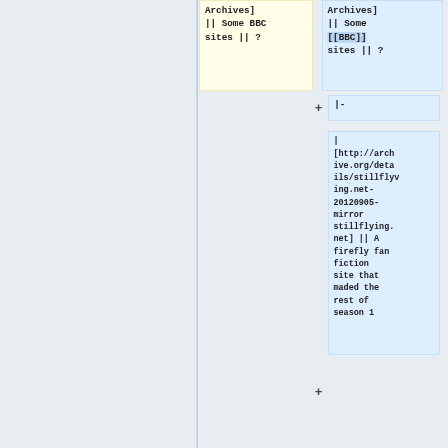Archives]
|| Some BBC
sites || ?
Archives]
|| Some
[[BBC]]
sites || ?
|-
|
[http://archive.org/details/stillflying.net-20120905-mirror stillflying.net] || A firefly fan fiction site that maded the rest of season 1